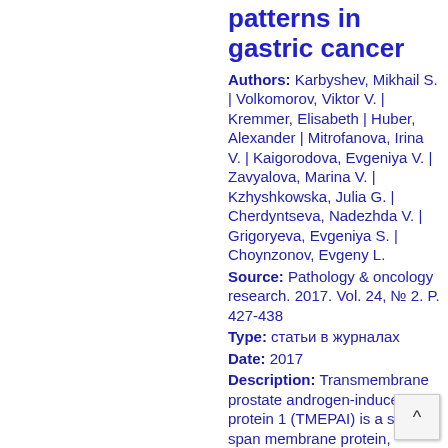patterns in gastric cancer
Authors: Karbyshev, Mikhail S. | Volkomorov, Viktor V. | Kremmer, Elisabeth | Huber, Alexander | Mitrofanova, Irina V. | Kaigorodova, Evgeniya V. | Zavyalova, Marina V. | Kzhyshkowska, Julia G. | Cherdyntseva, Nadezhda V. | Grigoryeva, Evgeniya S. | Choynzonov, Evgeny L.
Source: Pathology & oncology research. 2017. Vol. 24, № 2. P. 427-438
Type: статьи в журналах
Date: 2017
Description: Transmembrane prostate androgen-induced protein 1 (TMEPAI) is a single-span membrane protein, functionally involved in transforming growth factor beta signaling pathway. The particular protein present ...